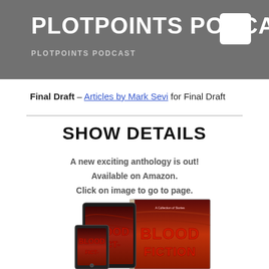PLOTPOINTS PODCAST
Final Draft – Articles by Mark Sevi for Final Draft
SHOW DETAILS
A new exciting anthology is out!
Available on Amazon.
Click on image to go to page.
[Figure (photo): Book cover image showing 'Blood Fiction' anthology in hardcover and tablet/ebook format, with red dramatic sky background and bold red title text.]